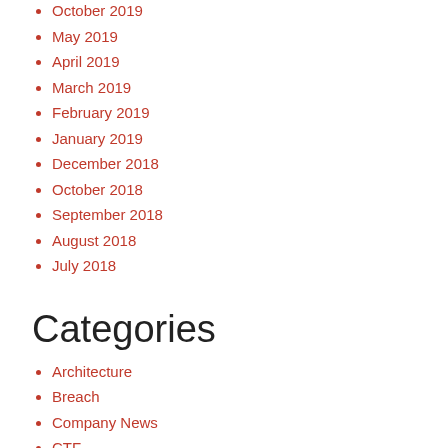October 2019
May 2019
April 2019
March 2019
February 2019
January 2019
December 2018
October 2018
September 2018
August 2018
July 2018
Categories
Architecture
Breach
Company News
CTF